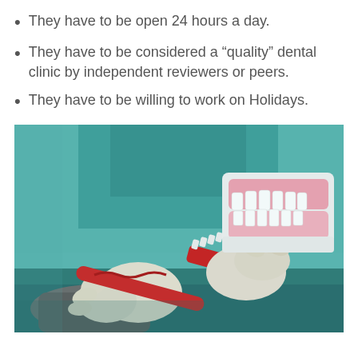They have to be open 24 hours a day.
They have to be considered a “quality” dental clinic by independent reviewers or peers.
They have to be willing to work on Holidays.
[Figure (photo): A dental professional in teal/green scrubs and white gloves holding a large dental jaw model and a red toothbrush, demonstrating dental hygiene.]